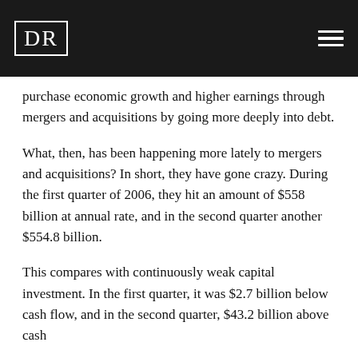DR
purchase economic growth and higher earnings through mergers and acquisitions by going more deeply into debt.
What, then, has been happening more lately to mergers and acquisitions? In short, they have gone crazy. During the first quarter of 2006, they hit an amount of $558 billion at annual rate, and in the second quarter another $554.8 billion.
This compares with continuously weak capital investment. In the first quarter, it was $2.7 billion below cash flow, and in the second quarter, $43.2 billion above cash